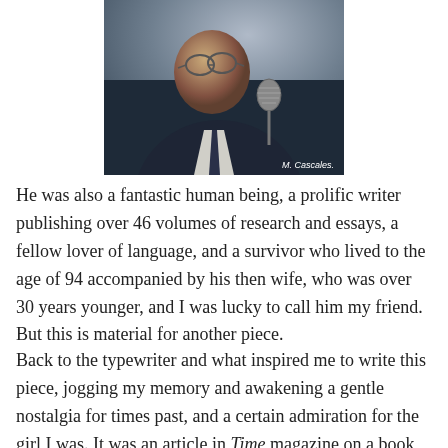[Figure (photo): Black and white photograph of an elderly man wearing glasses and a suit with a tie, speaking into a microphone. Credit: M. Cascales.]
M. Cascales.
He was also a fantastic human being, a prolific writer publishing over 46 volumes of research and essays, a fellow lover of language, and a survivor who lived to the age of 94 accompanied by his then wife, who was over 30 years younger, and I was lucky to call him my friend. But this is material for another piece.
Back to the typewriter and what inspired me to write this piece, jogging my memory and awakening a gentle nostalgia for times past, and a certain admiration for the girl I was. It was an article in Time magazine on a book